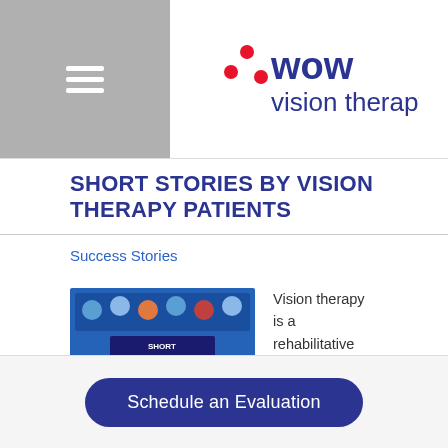[Figure (logo): WOW Vision Therapy logo with red dots and blue text]
SHORT STORIES BY VISION THERAPY PATIENTS
Success Stories
[Figure (photo): Thumbnail image showing group of people with SHORT STORIES text overlay on blue background]
Vision therapy is a rehabilitative program, prescribed to treat developmental and/or neurologically induced dysfunctions of the visual system. Typically, those who need this form of treatment experience visual problems that go beyond what glasses or contacts can correct. Some of…
Schedule an Evaluation